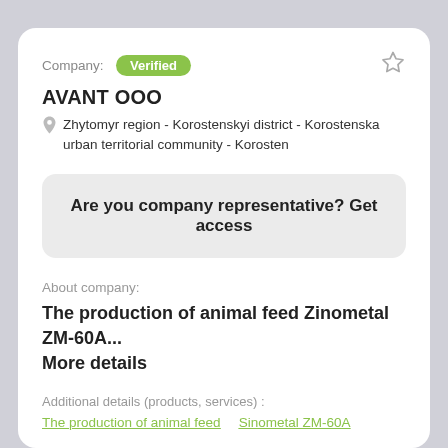Company: Verified
AVANT OOO
Zhytomyr region - Korostenskyi district - Korostenska urban territorial community - Korosten
Are you company representative? Get access
About company:
The production of animal feed Zinometal ZM-60A... More details
Additional details (products, services) :
The production of animal feed   Sinometal ZM-60A
Activities